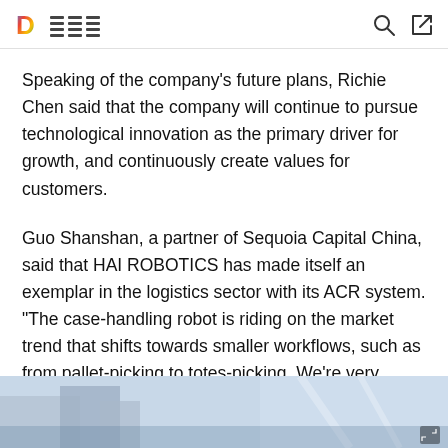D [logo with navigation lines] [search icon] [share icon]
Speaking of the company's future plans, Richie Chen said that the company will continue to pursue technological innovation as the primary driver for growth, and continuously create values for customers.
Guo Shanshan, a partner of Sequoia Capital China, said that HAI ROBOTICS has made itself an exemplar in the logistics sector with its ACR system. "The case-handling robot is riding on the market trend that shifts towards smaller workflows, such as from pallet-picking to totes-picking. We're very pleased to see the company's fast growth with good innovation," he said.
[Figure (photo): Bottom strip showing a warehouse or industrial facility interior with blue-toned lighting]